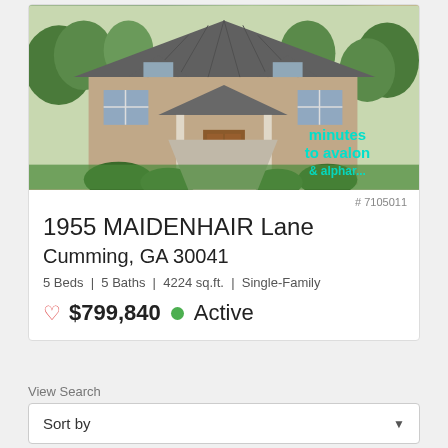[Figure (photo): Exterior photo of a two-story brick and stone single-family home with a metal roof, covered porch, and surrounding trees. Overlay text reads 'minutes to avalon' in teal.]
# 7105011
1955 MAIDENHAIR Lane
Cumming, GA 30041
5 Beds | 5 Baths | 4224 sq.ft. | Single-Family
♡ $799,840 ● Active
View Search
Sort by